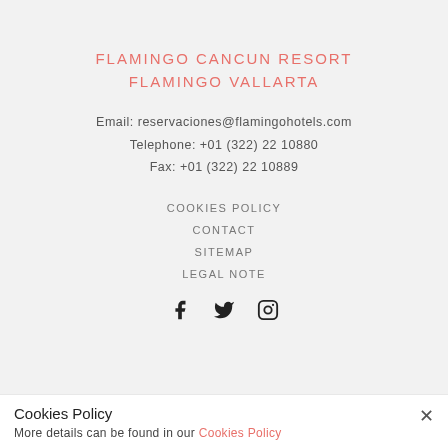FLAMINGO CANCUN RESORT
FLAMINGO VALLARTA
Email: reservaciones@flamingohotels.com
Telephone: +01 (322) 22 10880
Fax: +01 (322) 22 10889
COOKIES POLICY
CONTACT
SITEMAP
LEGAL NOTE
[Figure (other): Social media icons: Facebook, Twitter, Instagram]
Cookies Policy
More details can be found in our Cookies Policy